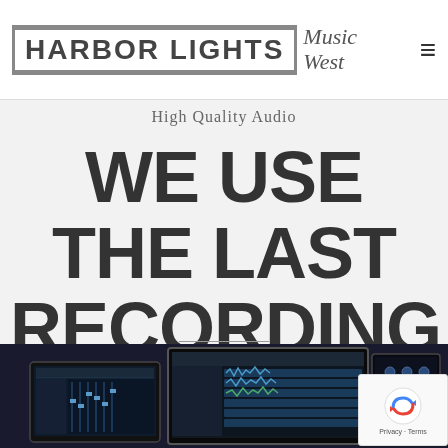HARBOR LIGHTS Music West
High Quality Audio
WE USE THE LAST RECORDING SOFTWARE
[Figure (screenshot): Screenshot of recording software on multiple monitors/tablets displayed at bottom of page]
[Figure (other): Google reCAPTCHA badge with Privacy and Terms links]